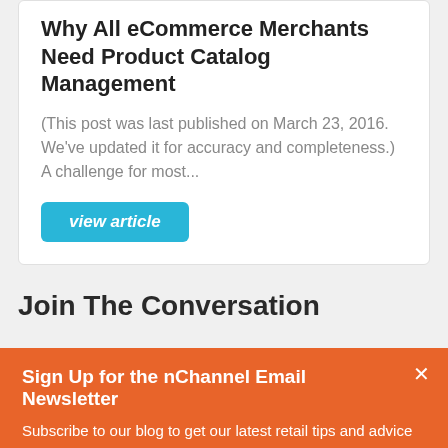Why All eCommerce Merchants Need Product Catalog Management
(This post was last published on March 23, 2016. We've updated it for accuracy and completeness.) A challenge for most...
view article
Join The Conversation
Sign Up for the nChannel Email Newsletter
Subscribe to our blog to get our latest retail tips and advice sent straight to your inbox!
Subscribe now